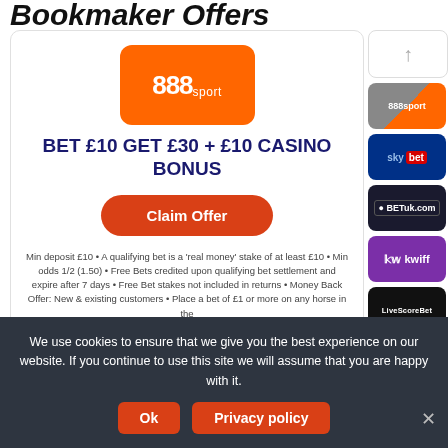Bookmaker Offers
[Figure (logo): 888sport orange logo]
BET £10 GET £30 + £10 CASINO BONUS
Claim Offer
Min deposit £10 • A qualifying bet is a 'real money' stake of at least £10 • Min odds 1/2 (1.50) • Free Bets credited upon qualifying bet settlement and expire after 7 days • Free Bet stakes not included in returns • Money Back Offer: New & existing customers • Place a bet of £1 or more on any horse in the
[Figure (other): Right sidebar with up arrow and bookmaker logos: 888sport, sky bet, BetUK, kwiff, LiveScoreBet, bet365]
We use cookies to ensure that we give you the best experience on our website. If you continue to use this site we will assume that you are happy with it.
Ok
Privacy policy